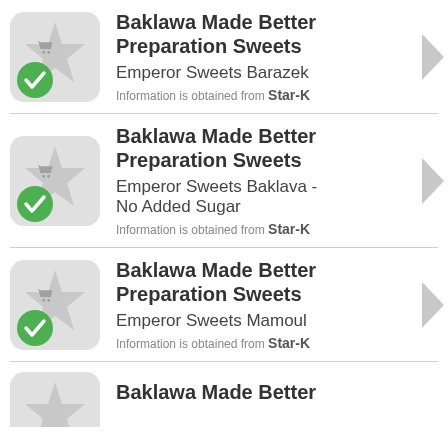[Figure (illustration): App icon with star and shopping cart symbol, green checkmark badge - item 1]
Baklawa Made Better Preparation Sweets
Emperor Sweets Barazek
Information is obtained from Star-K
[Figure (illustration): App icon with star and shopping cart symbol, green checkmark badge - item 2]
Baklawa Made Better Preparation Sweets
Emperor Sweets Baklava - No Added Sugar
Information is obtained from Star-K
[Figure (illustration): App icon with star and shopping cart symbol, green checkmark badge - item 3]
Baklawa Made Better Preparation Sweets
Emperor Sweets Mamoul
Information is obtained from Star-K
[Figure (illustration): App icon with star and shopping cart symbol, green checkmark badge - item 4 (partial)]
Baklawa Made Better